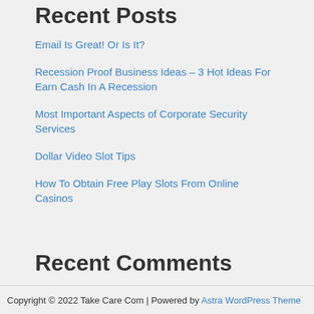Recent Posts
Email Is Great! Or Is It?
Recession Proof Business Ideas – 3 Hot Ideas For Earn Cash In A Recession
Most Important Aspects of Corporate Security Services
Dollar Video Slot Tips
How To Obtain Free Play Slots From Online Casinos
Recent Comments
No comments to show.
Copyright © 2022 Take Care Com | Powered by Astra WordPress Theme